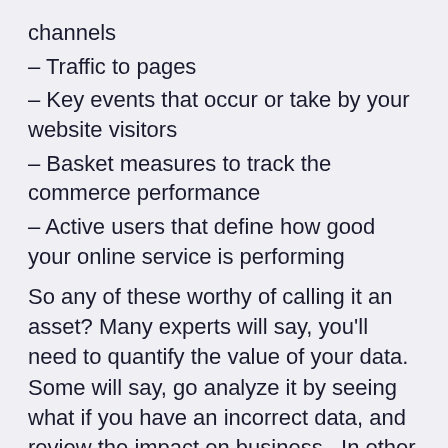channels
– Traffic to pages
– Key events that occur or take by your website visitors
– Basket measures to track the commerce performance
– Active users that define how good your online service is performing
So any of these worthy of calling it an asset? Many experts will say, you'll need to quantify the value of your data. Some will say, go analyze it by seeing what if you have an incorrect data, and review the impact on business.  In other words, data completeness would be key in taking into consideration of rather treat your data as an asset.